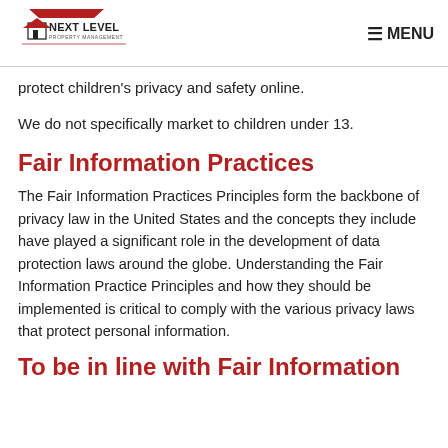Next Level Property Management | MENU
protect children's privacy and safety online.
We do not specifically market to children under 13.
Fair Information Practices
The Fair Information Practices Principles form the backbone of privacy law in the United States and the concepts they include have played a significant role in the development of data protection laws around the globe. Understanding the Fair Information Practice Principles and how they should be implemented is critical to comply with the various privacy laws that protect personal information.
To be in line with Fair Information